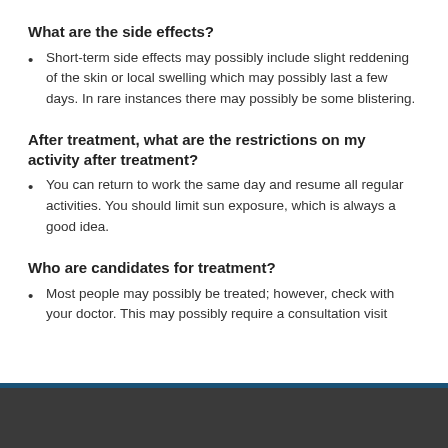What are the side effects?
Short-term side effects may possibly include slight reddening of the skin or local swelling which may possibly last a few days. In rare instances there may possibly be some blistering.
After treatment, what are the restrictions on my activity after treatment?
You can return to work the same day and resume all regular activities. You should limit sun exposure, which is always a good idea.
Who are candidates for treatment?
Most people may possibly be treated; however, check with your doctor. This may possibly require a consultation visit